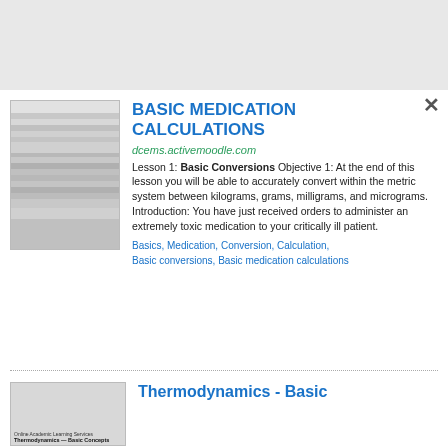[Figure (screenshot): Top grey banner area of a webpage]
BASIC MEDICATION CALCULATIONS
dcems.activemoodle.com
Lesson 1: Basic Conversions Objective 1: At the end of this lesson you will be able to accurately convert within the metric system between kilograms, grams, milligrams, and micrograms. Introduction: You have just received orders to administer an extremely toxic medication to your critically ill patient.
Basics, Medication, Conversion, Calculation, Basic conversions, Basic medication calculations
Thermodynamics - Basic